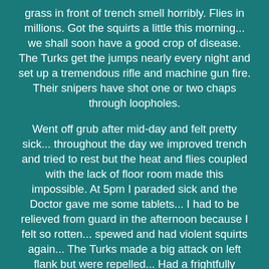grass in front of trench smell horribly. Flies in millions. Got the squirts a little this morning... we shall soon have a good crop of disease. The Turks get the jumps nearly every night and set up a tremendous rifle and machine gun fire. Their snipers have shot one or two chaps through loopholes.

Went off grub after mid-day and felt pretty sick... throughout the day we improved trench and tried to rest but the heat and flies coupled with the lack of floor room made this impossible. At 5pm I paraded sick and the Doctor gave me some tablets... I had to be relieved from guard in the afternoon because I felt so rotten... spewed and had violent squirts again... The Turks made a big attack on left flank but were repelled... Had a frightfully restless night with fearful stomach pains'.